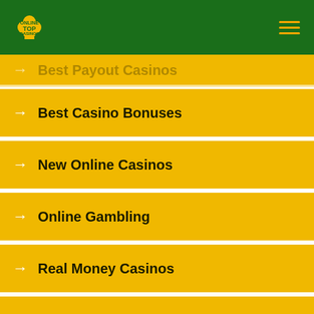Top Online Casinos
Best Payout Casinos
Best Casino Bonuses
New Online Casinos
Online Gambling
Real Money Casinos
Big Win Casinos
Download Casinos
Free No Download Casinos South Africa
Blacklisted Casinos
High Roller Casinos
Fastest Payout Casinos